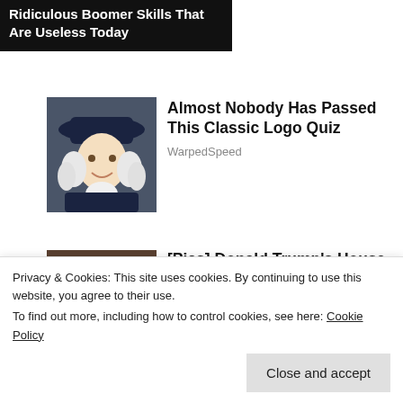Ridiculous Boomer Skills That Are Useless Today
[Figure (photo): Illustrated portrait of a colonial-era figure wearing a dark hat and white collar, resembling the Quaker Oats mascot]
Almost Nobody Has Passed This Classic Logo Quiz
WarpedSpeed
[Figure (photo): Photo of a blonde woman and an older man smiling together, resembling Donald Trump and a woman]
[Pics] Donald Trump's House Is So Gorgeous, Take A Look Inside
Privacy & Cookies: This site uses cookies. By continuing to use this website, you agree to their use.
To find out more, including how to control cookies, see here: Cookie Policy
Close and accept